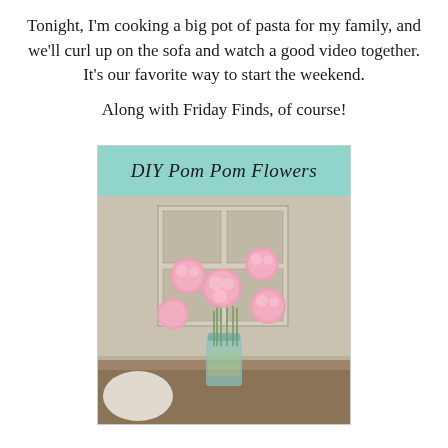Tonight, I'm cooking a big pot of pasta for my family, and we'll curl up on the sofa and watch a good video together. It's our favorite way to start the weekend.

Along with Friday Finds, of course!
[Figure (photo): DIY Pom Pom Flowers — photo showing pink yarn pom pom flowers arranged in a blue mason jar on a wooden table, with a mint/teal header banner at the top reading 'DIY Pom Pom Flowers' in italic script.]